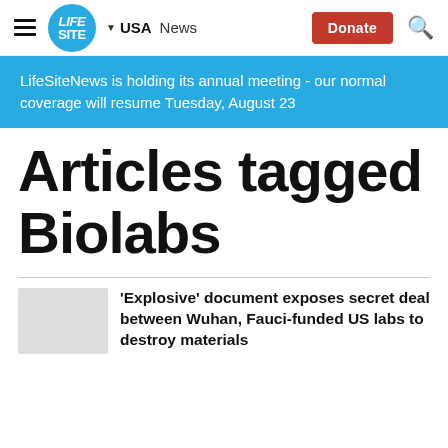[Figure (logo): LifeSite news website navigation bar with hamburger menu, circular blue logo reading LIFE SITE, USA dropdown, News link, red Donate button, and search icon]
LifeSiteNews is holding its annual meeting - our normal coverage will resume Tuesday, August 23
Articles tagged Biolabs
'Explosive' document exposes secret deal between Wuhan, Fauci-funded US labs to destroy materials